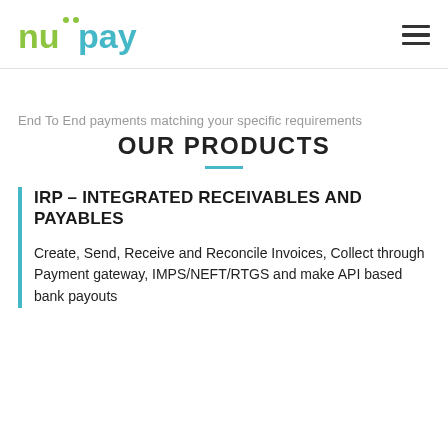[Figure (logo): nupay logo with green 'nu' and teal 'pay' text]
End To End payments matching your specific requirements
OUR PRODUCTS
IRP - INTEGRATED RECEIVABLES AND PAYABLES
Create, Send, Receive and Reconcile Invoices, Collect through Payment gateway, IMPS/NEFT/RTGS and make API based bank payouts